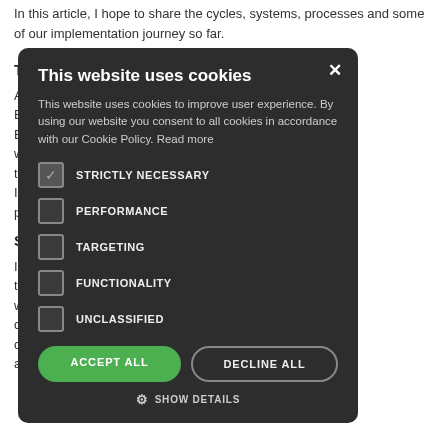In this article, I hope to share the cycles, systems, processes and some of our implementation journey so far.
Th...
Af... cycles, such as Ba... 6), the GROW and BA... ome of the recent wo... on Institute, we felt tha... s Jim Knight's Im... ow it works in pra...
St...
In... ent snapshots of the... ee. By beginning wi... om practice of the co... ols like VEO, the co... e coaching cycle and where they ought to go next.
[Figure (screenshot): Cookie consent modal dialog on dark background (#2d2d2d). Title: 'This website uses cookies'. Description text about cookies improving user experience and Cookie Policy with 'Read more' link. Checkboxes for: STRICTLY NECESSARY (checked), PERFORMANCE (unchecked), TARGETING (unchecked), FUNCTIONALITY (unchecked), UNCLASSIFIED (unchecked). Two buttons: 'ACCEPT ALL' (green) and 'DECLINE ALL' (outlined). 'SHOW DETAILS' link with gear icon at bottom. X close button top right.]